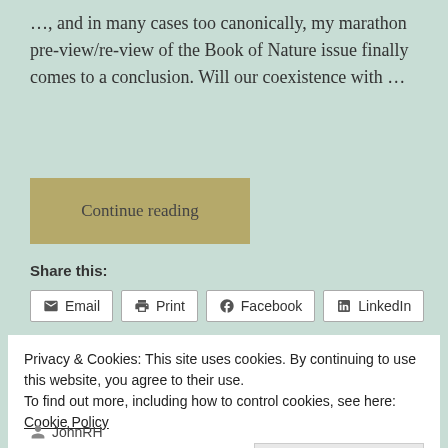…, and in many cases too canonically, my marathon pre-view/re-view of the Book of Nature issue finally comes to a conclusion. Will our coexistence with …
Continue reading
Share this:
Email
Print
Facebook
LinkedIn
Privacy & Cookies: This site uses cookies. By continuing to use this website, you agree to their use.
To find out more, including how to control cookies, see here: Cookie Policy
Close and accept
JohnRH